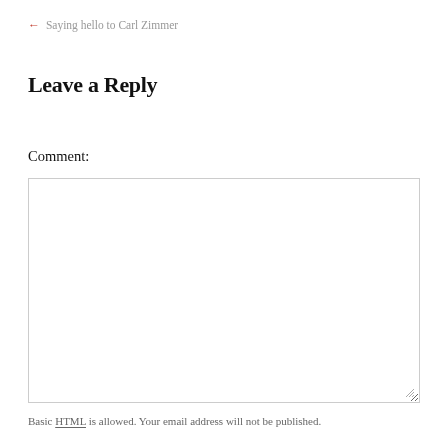← Saying hello to Carl Zimmer
Leave a Reply
Comment:
[Figure (other): Empty comment text area input box with resize handle]
Basic HTML is allowed. Your email address will not be published.